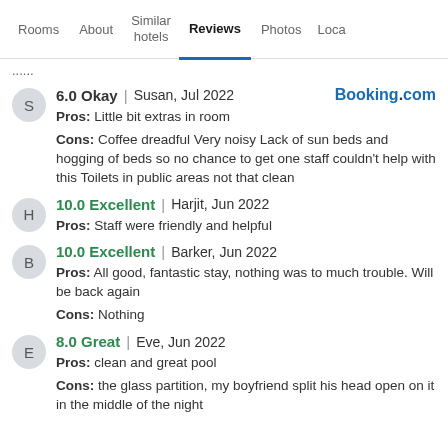Rooms | About | Similar hotels | Reviews | Photos | Loca
......
6.0 Okay | Susan, Jul 2022 | Booking.com
Pros: Little bit extras in room
Cons: Coffee dreadful Very noisy Lack of sun beds and hogging of beds so no chance to get one staff couldn't help with this Toilets in public areas not that clean
10.0 Excellent | Harjit, Jun 2022
Pros: Staff were friendly and helpful
10.0 Excellent | Barker, Jun 2022
Pros: All good, fantastic stay, nothing was to much trouble. Will be back again
Cons: Nothing
8.0 Great | Eve, Jun 2022
Pros: clean and great pool
Cons: the glass partition, my boyfriend split his head open on it in the middle of the night